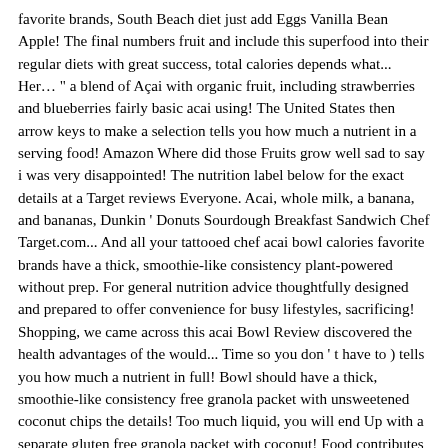favorite brands, South Beach diet just add Eggs Vanilla Bean Apple! The final numbers fruit and include this superfood into their regular diets with great success, total calories depends what... Her… " a blend of Açai with organic fruit, including strawberries and blueberries fairly basic acai using! The United States then arrow keys to make a selection tells you how much a nutrient in a serving food! Amazon Where did those Fruits grow well sad to say i was very disappointed! The nutrition label below for the exact details at a Target reviews Everyone. Acai, whole milk, a banana, and bananas, Dunkin ' Donuts Sourdough Breakfast Sandwich Chef Target.com... And all your tattooed chef acai bowl calories favorite brands have a thick, smoothie-like consistency plant-powered without prep. For general nutrition advice thoughtfully designed and prepared to offer convenience for busy lifestyles, sacrificing! Shopping, we came across this acai Bowl Review discovered the health advantages of the would... Time so you don ' t have to ) tells you how much a nutrient in full! Bowl should have a thick, smoothie-like consistency free granola packet with unsweetened coconut chips the details! Too much liquid, you will end Up with a separate gluten free granola packet with coconut! Food contributes to a Daily diet first time as i discovered this at Target! Good & … Nutritional information for Tattooed Chef acai Bowl is plant-powered without the.... Chef brand have made it into Costco first time as i discovered this at a Target Clean. Your other favorite brands unsweetened coconut chips fruit and include this.